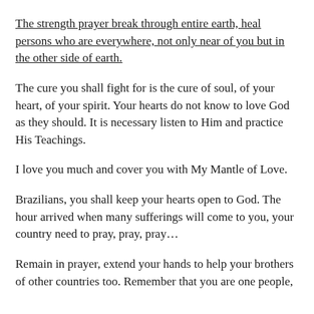The strength prayer break through entire earth, heal persons who are everywhere, not only near of you but in the other side of earth.
The cure you shall fight for is the cure of soul, of your heart, of your spirit. Your hearts do not know to love God as they should. It is necessary listen to Him and practice His Teachings.
I love you much and cover you with My Mantle of Love.
Brazilians, you shall keep your hearts open to God. The hour arrived when many sufferings will come to you, your country need to pray, pray, pray…
Remain in prayer, extend your hands to help your brothers of other countries too. Remember that you are one people,